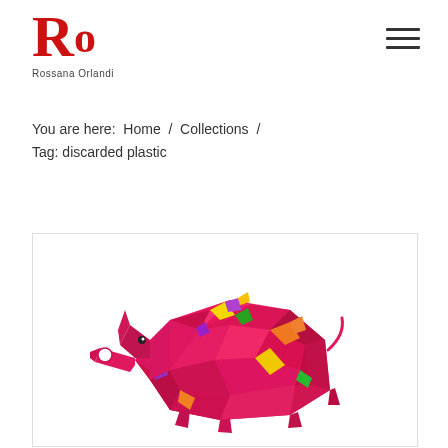Ro Rossana Orlandi
You are here:  Home  /  Collections  /  Tag: discarded plastic
[Figure (photo): A colorful faceted elephant sculpture made from discarded plastic, predominantly bright pink/red with multicolored geometric patches in yellow, green, orange, and purple. The elephant has a geometric polygonal design style with a small circular hole detail.]